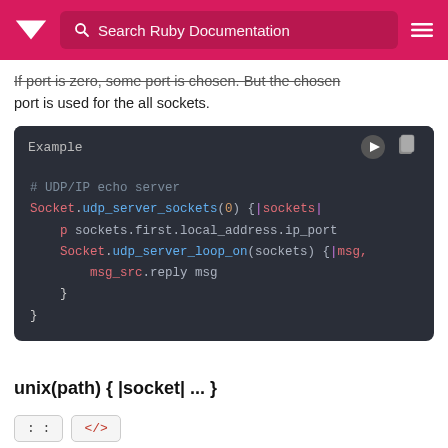Search Ruby Documentation
If port is zero, some port is chosen. But the chosen port is used for the all sockets.
[Figure (screenshot): Code example block showing Ruby UDP/IP echo server code: Socket.udp_server_sockets(0) {|sockets| p sockets.first.local_address.ip_port; Socket.udp_server_loop_on(sockets) {|msg, msg_src| msg_src.reply msg } }]
unix(path) { |socket| ... }
:: </>